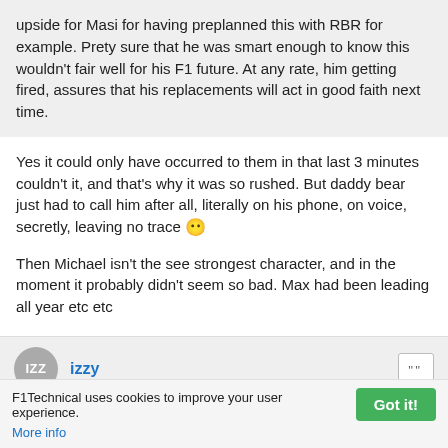upside for Masi for having preplanned this with RBR for example. Prety sure that he was smart enough to know this wouldn't fair well for his F1 future. At any rate, him getting fired, assures that his replacements will act in good faith next time.
Yes it could only have occurred to them in that last 3 minutes couldn't it, and that's why it was so rushed. But daddy bear just had to call him after all, literally on his phone, on voice, secretly, leaving no trace 😶
Then Michael isn't the see strongest character, and in the moment it probably didn't seem so bad. Max had been leading all year etc etc
IZZ  izzy
F1Technical uses cookies to improve your user experience. More info